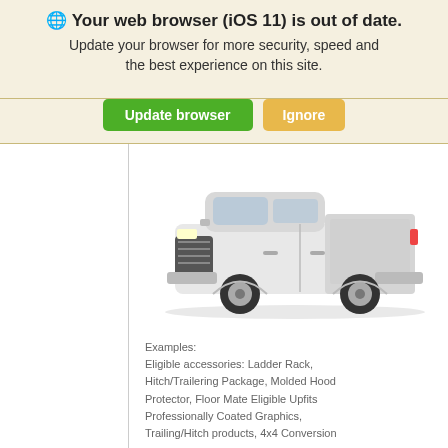🌐 Your web browser (iOS 11) is out of date. Update your browser for more security, speed and the best experience on this site.
[Figure (other): Two buttons: green 'Update browser' and orange/tan 'Ignore']
[Figure (photo): White Chevrolet Silverado pickup truck on white background, side view]
Examples: Eligible accessories: Ladder Rack, Hitch/Trailering Package, Molded Hood Protector, Floor Mate Eligible Upfits Professionally Coated Graphics, Trailing/Hitch products, 4x4 Conversion
This site uses cookies.
[Figure (other): Blue 'OK' button]